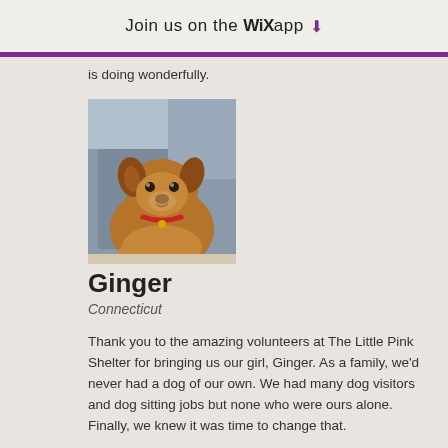Join us on the WiX app ↓
is doing wonderfully.
[Figure (photo): A brown dog sitting in a car seat, looking at the camera. The dog has a red collar and appears to be a medium-sized mixed breed.]
Ginger
Connecticut
Thank you to the amazing volunteers at The Little Pink Shelter for bringing us our girl, Ginger. As a family, we'd never had a dog of our own. We had many dog visitors and dog sitting jobs but none who were ours alone. Finally, we knew it was time to change that.
We started looking incessantly on the big websites, until one day a friend told us about The Little Pink Shelter. There we